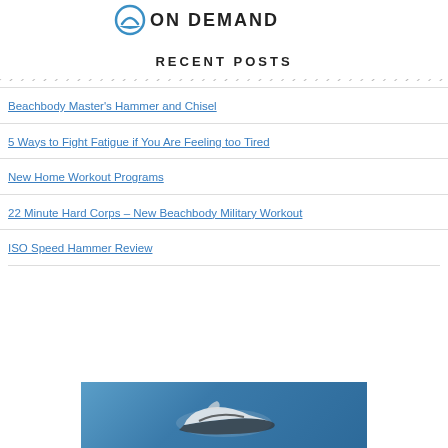[Figure (logo): Beachbody On Demand logo with blue circular icon and bold uppercase text ON DEMAND]
RECENT POSTS
Beachbody Master's Hammer and Chisel
5 Ways to Fight Fatigue if You Are Feeling too Tired
New Home Workout Programs
22 Minute Hard Corps – New Beachbody Military Workout
ISO Speed Hammer Review
[Figure (photo): Partial photo of a sneaker/shoe on a blue background, cropped at bottom of page]